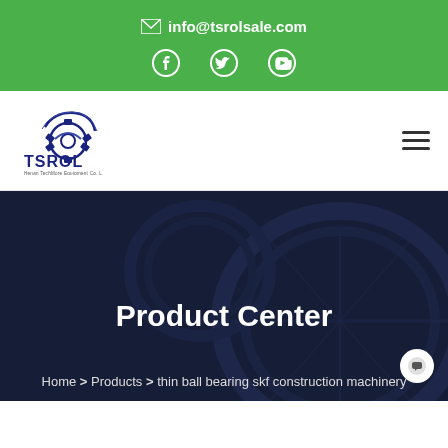info@tsrolsale.com
[Figure (logo): TSROL company logo with gear icon and text 'TSROL' and tagline below]
Product Center
Home > Products > thin ball bearing skf construction machinery